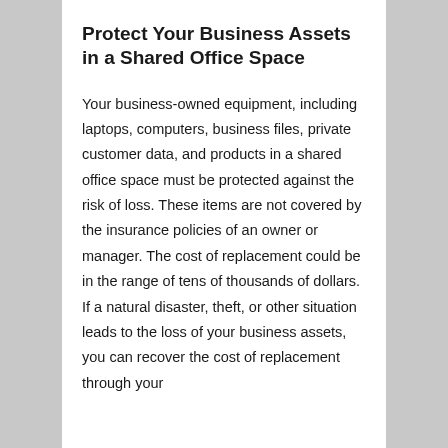Protect Your Business Assets in a Shared Office Space
Your business-owned equipment, including laptops, computers, business files, private customer data, and products in a shared office space must be protected against the risk of loss. These items are not covered by the insurance policies of an owner or manager. The cost of replacement could be in the range of tens of thousands of dollars. If a natural disaster, theft, or other situation leads to the loss of your business assets, you can recover the cost of replacement through your